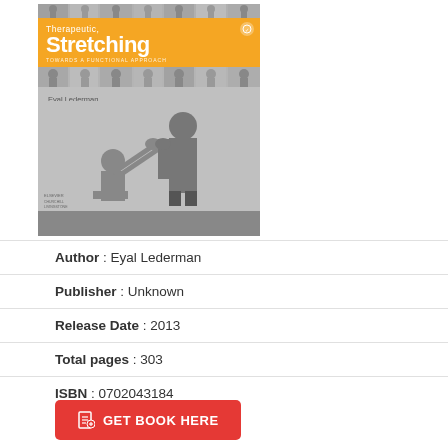[Figure (photo): Book cover of 'Therapeutic Stretching' by Eyal Lederman showing people stretching in orange and gray design]
Author : Eyal Lederman
Publisher : Unknown
Release Date : 2013
Total pages : 303
ISBN : 0702043184
GET BOOK HERE